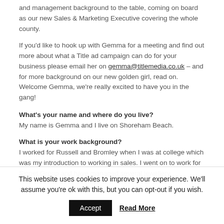and management background to the table, coming on board as our new Sales & Marketing Executive covering the whole county.
If you'd like to hook up with Gemma for a meeting and find out more about what a Title ad campaign can do for your business please email her on gemma@titlemedia.co.uk – and for more background on our new golden girl, read on. Welcome Gemma, we're really excited to have you in the gang!
What's your name and where do you live?
My name is Gemma and I live on Shoreham Beach.
What is your work background?
I worked for Russell and Bromley when I was at college which was my introduction to working in sales. I went on to work for Signet Group and have managed several jewellery
This website uses cookies to improve your experience. We'll assume you're ok with this, but you can opt-out if you wish.